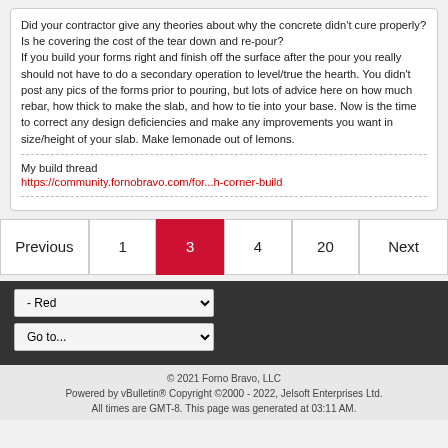Did your contractor give any theories about why the concrete didn't cure properly? Is he covering the cost of the tear down and re-pour?
If you build your forms right and finish off the surface after the pour you really should not have to do a secondary operation to level/true the hearth. You didn't post any pics of the forms prior to pouring, but lots of advice here on how much rebar, how thick to make the slab, and how to tie into your base. Now is the time to correct any design deficiencies and make any improvements you want in size/height of your slab. Make lemonade out of lemons.
My build thread
https://community.fornobravo.com/for...h-corner-build
Previous  1  3  4  20  Next
- Red
Go to...
© 2021 Forno Bravo, LLC
Powered by vBulletin® Copyright ©2000 - 2022, Jelsoft Enterprises Ltd.
All times are GMT-8. This page was generated at 03:11 AM.